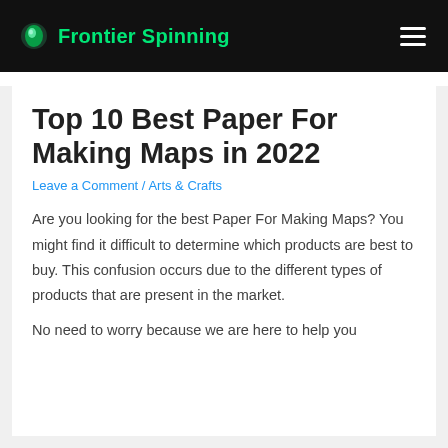Frontier Spinning
Top 10 Best Paper For Making Maps in 2022
Leave a Comment / Arts & Crafts
Are you looking for the best Paper For Making Maps? You might find it difficult to determine which products are best to buy. This confusion occurs due to the different types of products that are present in the market.
No need to worry because we are here to help you